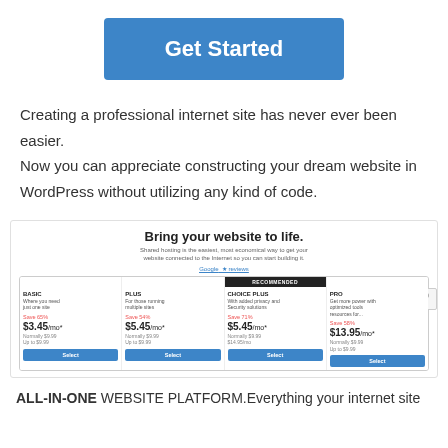Get Started
Creating a professional internet site has never ever been easier. Now you can appreciate constructing your dream website in WordPress without utilizing any kind of code.
[Figure (screenshot): Screenshot of a web hosting pricing page titled 'Bring your website to life.' showing four plans: BASIC $3.45/mo, PLUS $5.45/mo, CHOICE PLUS $5.45/mo (recommended), PRO $13.95/mo with Select buttons.]
ALL-IN-ONE WEBSITE PLATFORM. Everything your internet site needs from start to success.